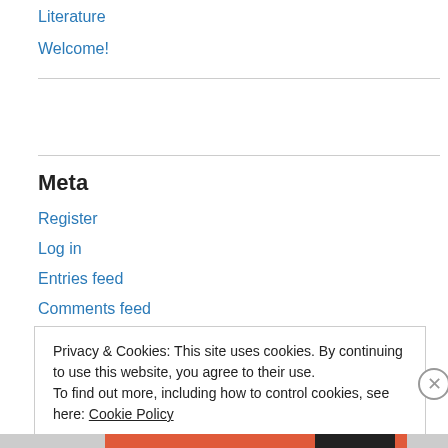Literature
Welcome!
Meta
Register
Log in
Entries feed
Comments feed
Privacy & Cookies: This site uses cookies. By continuing to use this website, you agree to their use. To find out more, including how to control cookies, see here: Cookie Policy
Close and accept